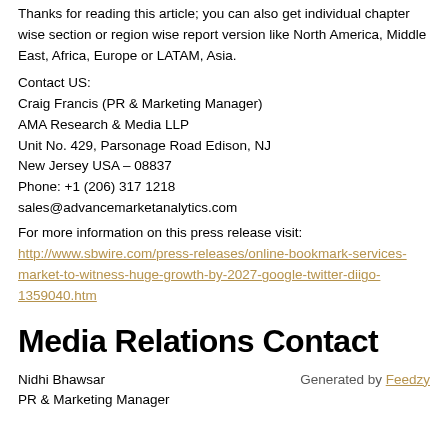Thanks for reading this article; you can also get individual chapter wise section or region wise report version like North America, Middle East, Africa, Europe or LATAM, Asia.
Contact US:
Craig Francis (PR & Marketing Manager)
AMA Research & Media LLP
Unit No. 429, Parsonage Road Edison, NJ
New Jersey USA – 08837
Phone: +1 (206) 317 1218
sales@advancemarketanalytics.com
For more information on this press release visit:
http://www.sbwire.com/press-releases/online-bookmark-services-market-to-witness-huge-growth-by-2027-google-twitter-diigo-1359040.htm
Media Relations Contact
Nidhi Bhawsar
PR & Marketing Manager
Generated by Feedzy